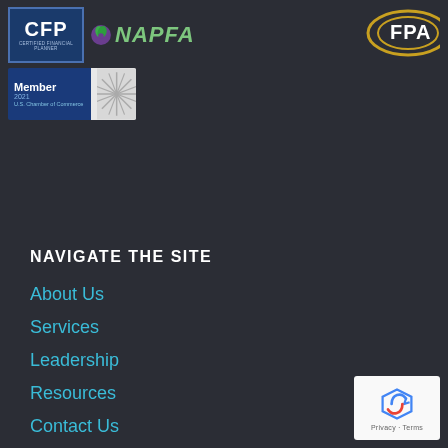[Figure (logo): CFP Certified Financial Planner logo (blue box with white text)]
[Figure (logo): NAPFA logo with green leaf/circle icon and green stylized text]
[Figure (logo): FPA logo in white and gold on dark background]
[Figure (logo): U.S. Chamber of Commerce Member 2021 badge with sunburst design]
NAVIGATE THE SITE
About Us
Services
Leadership
Resources
Contact Us
Client Center
[Figure (other): reCAPTCHA widget showing checkbox icon with Privacy and Terms links]